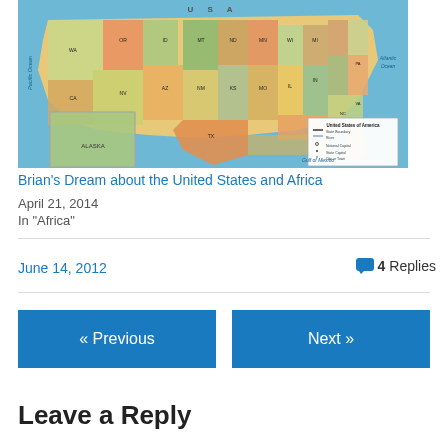[Figure (map): Political map of the United States of America showing state boundaries, state capitals, cities, and geographic labels. Includes inset of Hawaii and Alaska, with legend box in lower right.]
Brian's Dream about the United States and Africa
April 21, 2014
In "Africa"
June 14, 2012
4 Replies
« Previous
Next »
Leave a Reply